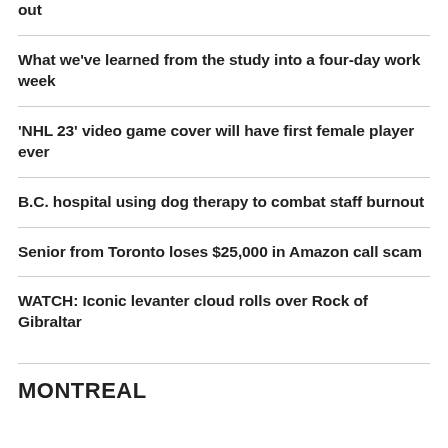out
What we've learned from the study into a four-day work week
'NHL 23' video game cover will have first female player ever
B.C. hospital using dog therapy to combat staff burnout
Senior from Toronto loses $25,000 in Amazon call scam
WATCH: Iconic levanter cloud rolls over Rock of Gibraltar
MONTREAL